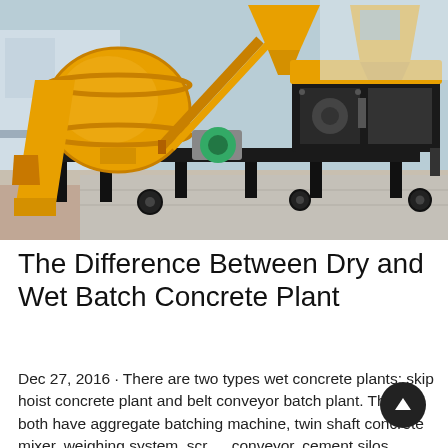[Figure (photo): Yellow concrete batching plant / mixer machine with black metal frame and supports, photographed outdoors in front of a building with a light blue sky. The machine includes a large rotating drum mixer, conveyor belt, cement hopper, and pump unit mounted on a black steel chassis.]
The Difference Between Dry and Wet Batch Concrete Plant
Dec 27, 2016 · There are two types wet concrete plants: skip hoist concrete plant and belt conveyor batch plant. They both have aggregate batching machine, twin shaft concrete mixer, weighing system, screw conveyor, cement silos, differences are, in skip hoist concrete batching plant, the batching machine uses skip hoist to...